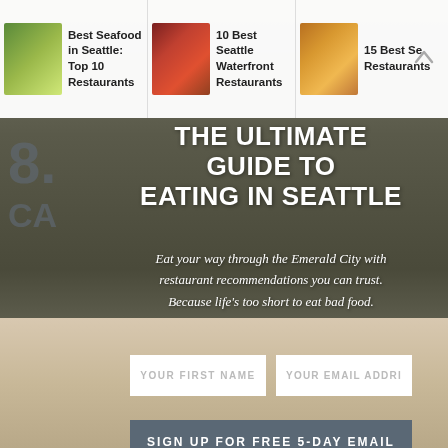[Figure (screenshot): Website screenshot showing a food/restaurant guide for Seattle with a modal email signup overlay. Top navigation shows article thumbnails. Background shows food imagery.]
Best Seafood in Seattle: Top 10 Restaurants | 10 Best Seattle Waterfront Restaurants | 15 Best Se... Restauran...
THE ULTIMATE GUIDE TO EATING IN SEATTLE
Eat your way through the Emerald City with restaurant recommendations you can trust. Because life's too short to eat bad food.
YOUR FIRST NAME
YOUR EMAIL ADDRI
SIGN UP FOR FREE 5-DAY EMAIL COURSE